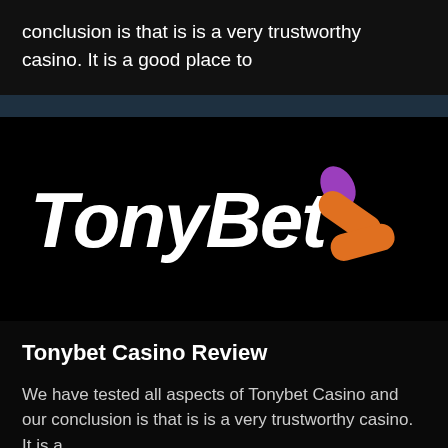conclusion is that is is a very trustworthy casino. It is a good place to
[Figure (logo): TonyBet logo — white bold italic text 'TonyBet' with an orange and purple chevron/arrow icon to the right, on black background]
Tonybet Casino Review
We have tested all aspects of Tonybet Casino and our conclusion is that is is a very trustworthy casino. It is a